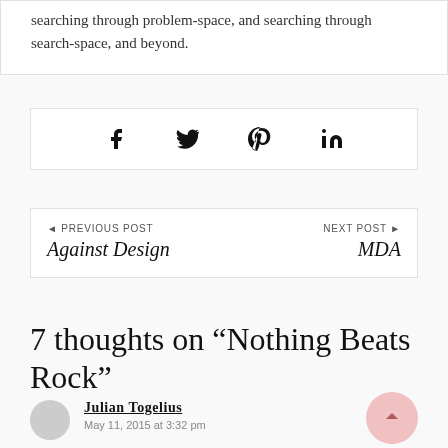searching through problem-space, and searching through search-space, and beyond.
[Figure (other): Social share icons bar: Facebook (f), Twitter bird, Pinterest (p), LinkedIn (in)]
PREVIOUS POST
Against Design
NEXT POST
MDA
7 thoughts on “Nothing Beats Rock”
Julian Togelius
May 11, 2015 at 3:32 pm